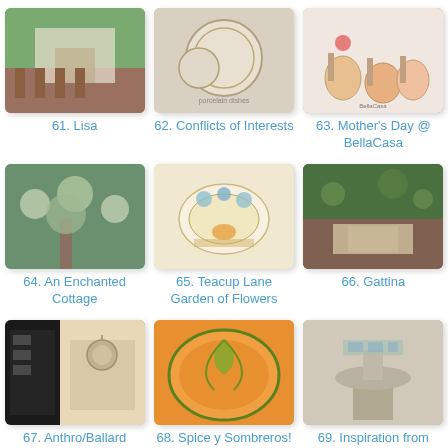[Figure (photo): Photo thumbnail for item 61 - Lisa, house with pathway]
61. Lisa
[Figure (photo): Photo thumbnail for item 62 - Conflicts of Interests, decorative plates]
62. Conflicts of Interests
[Figure (photo): Photo thumbnail for item 63 - Mother's Day at BellaCasa, drinks]
63. Mother's Day @ BellaCasa
[Figure (photo): Photo thumbnail for item 64 - An Enchanted Cottage, garden flowers]
64. An Enchanted Cottage
[Figure (photo): Photo thumbnail for item 65 - Teacup Lane Garden of Flowers]
65. Teacup Lane Garden of Flowers
[Figure (photo): Photo thumbnail for item 66 - Gattina, green foliage]
66. Gattina
[Figure (photo): Photo thumbnail for item 67 - Anthro/Ballard knock-off mirro, bookshelf and mirror]
67. Anthro/Ballard knock-off mirro
[Figure (photo): Photo thumbnail for item 68 - Spice y Sombreros, orange pie/frittata]
68. Spice y Sombreros!
[Figure (photo): Photo thumbnail for item 69 - Inspiration from Jeanne D Arc, stone birdbath]
69. Inspiration from Jeanne D Arc
[Figure (photo): Photo thumbnail for item 70 - green foliage through doorway]
[Figure (photo): Photo thumbnail for item 71 - dark framed mirror with chandelier]
[Figure (photo): Photo thumbnail for item 72 - TinyBellesBoutique storefront]